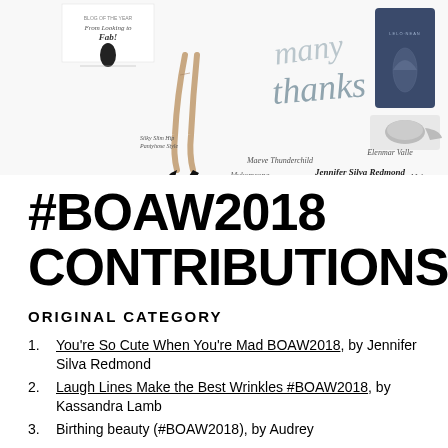[Figure (infographic): Thank you banner with logos, fashion illustration, and product image. Contains 'many thanks' script text, names: Maeve Thunderchild, Elenmar Valle, Mykomcona, Jennifer Silva Redmond]
#BOAW2018 CONTRIBUTIONS
ORIGINAL CATEGORY
You're So Cute When You're Mad BOAW2018, by Jennifer Silva Redmond
Laugh Lines Make the Best Wrinkles #BOAW2018, by Kassandra Lamb
Birthing beauty (#BOAW2018), by Audrey